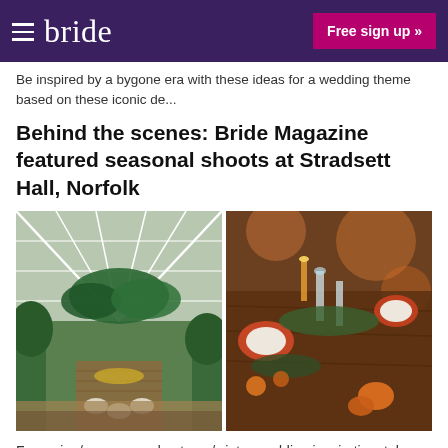bride | Free sign up »
Be inspired by a bygone era with these ideas for a wedding theme based on these iconic de...
Behind the scenes: Bride Magazine featured seasonal shoots at Stradsett Hall, Norfolk
[Figure (photo): Two side-by-side photos: left shows a greenhouse with a long wooden table set for a wedding with citrus floral decorations; right shows an autumn/winter table setting with pumpkins, orange plates, and candles.]
For spring/summer and autumn/winter wedding inspiration, take a look at these seasonally ...